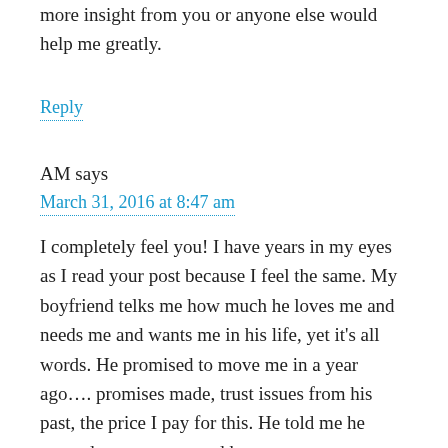more insight from you or anyone else would help me greatly.
Reply
AM says
March 31, 2016 at 8:47 am
I completely feel you! I have years in my eyes as I read your post because I feel the same. My boyfriend telks me how much he loves me and needs me and wants me in his life, yet it's all words. He promised to move me in a year ago…. promises made, trust issues from his past, the price I pay for this. He told me he wanted to marry me and has a